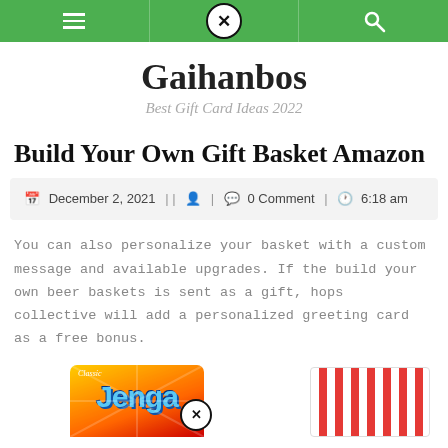Gaihanbos – navigation bar with hamburger menu, close/X button, and search icon
Gaihanbos
Best Gift Card Ideas 2022
Build Your Own Gift Basket Amazon
December 2, 2021 | | 🧑 | 💬 0 Comment | 🕐 6:18 am
You can also personalize your basket with a custom message and available upgrades. If the build your own beer baskets is sent as a gift, hops collective will add a personalized greeting card as a free bonus.
[Figure (photo): Classic Jenga box alongside a red-and-white striped gift item, partially visible at bottom of page]